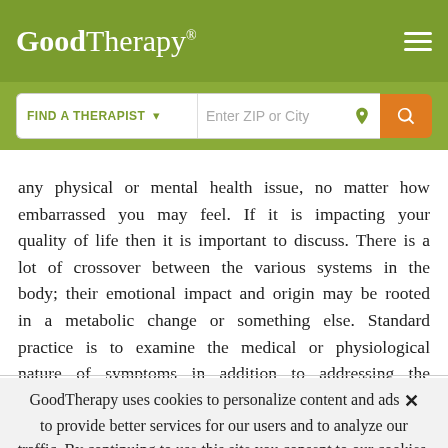GoodTherapy® [logo] [hamburger menu]
FIND A THERAPIST ▾   Enter ZIP or City 📍 🔍
any physical or mental health issue, no matter how embarrassed you may feel. If it is impacting your quality of life then it is important to discuss. There is a lot of crossover between the various systems in the body; their emotional impact and origin may be rooted in a metabolic change or something else. Standard practice is to examine the medical or physiological nature of symptoms in addition to addressing the psychological. The majority of things are best addressed in the earlier rather than the later stages.
GoodTherapy uses cookies to personalize content and ads to provide better services for our users and to analyze our traffic. By continuing to use this site you consent to our cookies. ✕